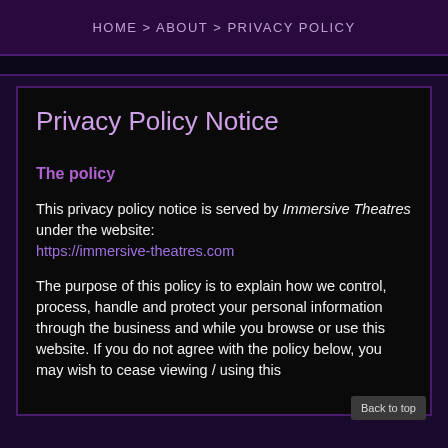HOME > ABOUT > PRIVACY POLICY
Privacy Policy Notice
The policy
This privacy policy notice is served by Immersive Theatres under the website: https://immersive-theatres.com
The purpose of this policy is to explain how we control, process, handle and protect your personal information through the business and while you browse or use this website. If you do not agree with the policy below, you may wish to cease viewing / using this